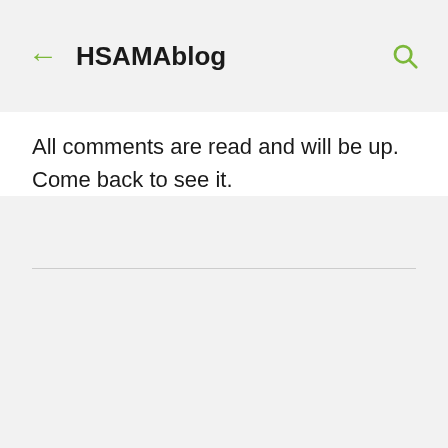HSAMAblog
All comments are read and will be up. Come back to see it.